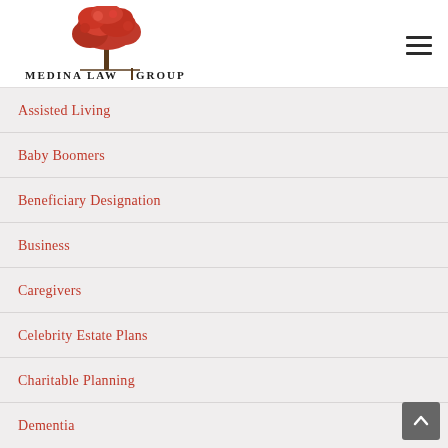[Figure (logo): Medina Law Group logo with red tree and stylized text]
Assisted Living
Baby Boomers
Beneficiary Designation
Business
Caregivers
Celebrity Estate Plans
Charitable Planning
Dementia